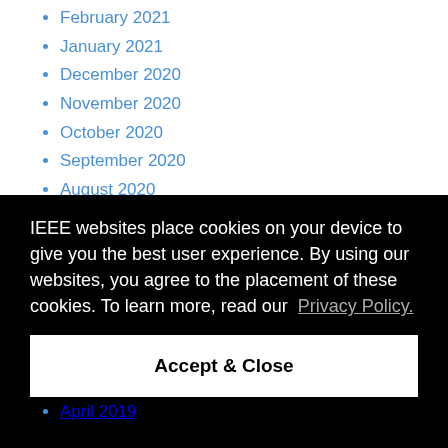February 2021
January 2021
December 2020
November 2020
October 2020
September 2020
August 2020
July 2020
June 2020
May 2020
IEEE websites place cookies on your device to give you the best user experience. By using our websites, you agree to the placement of these cookies. To learn more, read our Privacy Policy.
Accept & Close
April 2019